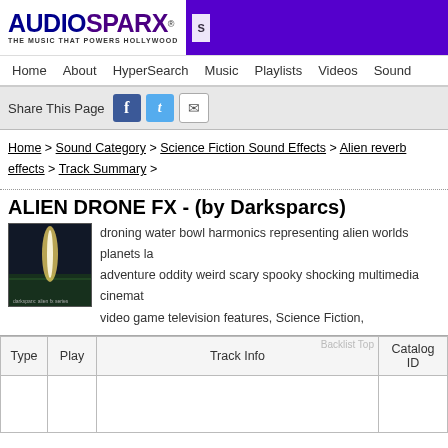[Figure (logo): AudioSparx logo with tagline 'THE MUSIC THAT POWERS HOLLYWOOD' and purple search bar]
Home   About   HyperSearch   Music   Playlists   Videos   Sound
Share This Page [Facebook icon] [Twitter icon] [Email icon]
Home > Sound Category > Science Fiction Sound Effects > Alien reverb effects > Track Summary >
ALIEN DRONE FX - (by Darksparcs)
droning water bowl harmonics representing alien worlds planets la... adventure oddity weird scary spooky shocking multimedia cinemat... video game television features, Science Fiction,
| Type | Play | Track Info | Catalog ID |
| --- | --- | --- | --- |
|  |  |  |  |